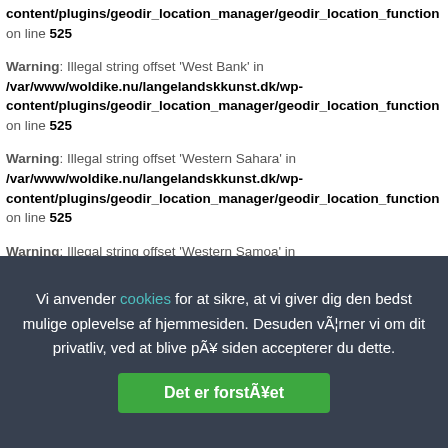/content/plugins/geodir_location_manager/geodir_location_function on line 525
Warning: Illegal string offset 'West Bank' in /var/www/woldike.nu/langelandskkunst.dk/wp-content/plugins/geodir_location_manager/geodir_location_function on line 525
Warning: Illegal string offset 'Western Sahara' in /var/www/woldike.nu/langelandskkunst.dk/wp-content/plugins/geodir_location_manager/geodir_location_function on line 525
Warning: Illegal string offset 'Western Samoa' in /var/www/woldike.nu/langelandskkunst.dk/wp-...
Vi anvender cookies for at sikre, at vi giver dig den bedst mulige oplevelse af hjemmesiden. Desuden værner vi om dit privatliv, ved at blive på siden accepterer du dette.
Det er forstået